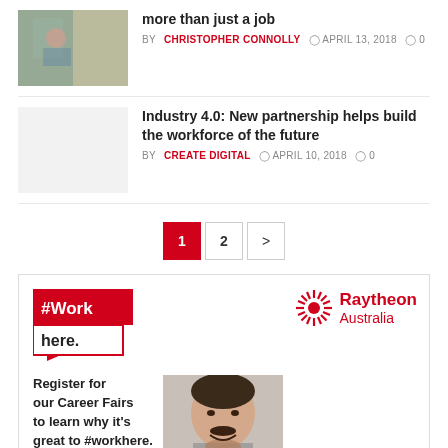more than just a job
BY CHRISTOPHER CONNOLLY  APRIL 13, 2018  0
[Figure (photo): Woman sitting outdoors with building in background]
Industry 4.0: New partnership helps build the workforce of the future
BY CREATE DIGITAL  APRIL 10, 2018  0
[Figure (photo): Blank/light grey thumbnail placeholder]
1  2  >
[Figure (infographic): Raytheon Australia advertisement: #WorkHere speech bubble graphic, Raytheon Australia logo with sunburst icon, text 'Register for our Career Fairs to learn why it's great to #workhere.', REGISTER NOW button, man's face photo]